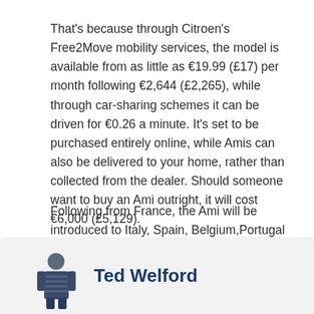That's because through Citroen's Free2Move mobility services, the model is available from as little as €19.99 (£17) per month following €2,644 (£2,265), while through car-sharing schemes it can be driven for €0.26 a minute. It's set to be purchased entirely online, while Amis can also be delivered to your home, rather than collected from the dealer. Should someone want to buy an Ami outright, it will cost €6,000 (£5,129).
Following from France, the Ami will be introduced to Italy, Spain, Belgium,Portugal and Germany, with Citroen said to be continuing to evaluate whether it can be brought to the UK.
[Figure (photo): Author photo of Ted Welford, a person wearing a striped shirt]
Ted Welford